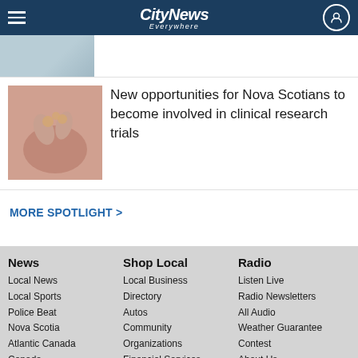CityNews Everywhere
[Figure (screenshot): Partial article thumbnail image (gray/blue tones)]
[Figure (photo): Pink background with hands holding gold jewelry]
New opportunities for Nova Scotians to become involved in clinical research trials
MORE SPOTLIGHT >
News
Local News
Local Sports
Police Beat
Nova Scotia
Atlantic Canada
Canada
World
Business News
The Big Story
Canada Votes
Shop Local
Local Business
Directory
Autos
Community Organizations
Financial Services
Food
Funeral and Estate Planning
Home Decor
Radio
Listen Live
Radio Newsletters
All Audio
Weather Guarantee
Contest
About Us
Contact Us
Advertise
Change Region